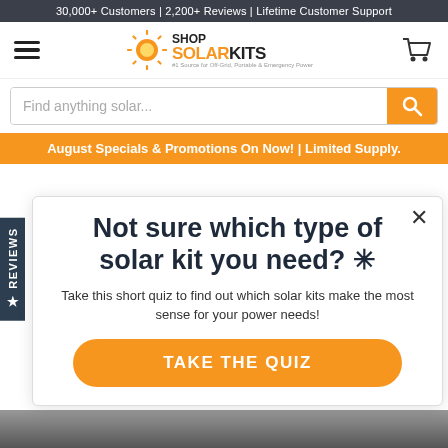30,000+ Customers | 2,200+ Reviews | Lifetime Customer Support
[Figure (logo): Shop Solar Kits logo with sun icon and tagline]
Find anything solar...
August Specials & Promotions On Now! | Limited Supply.
Not sure which type of solar kit you need? *
Take this short quiz to find out which solar kits make the most sense for your power needs!
TAKE THE QUIZ